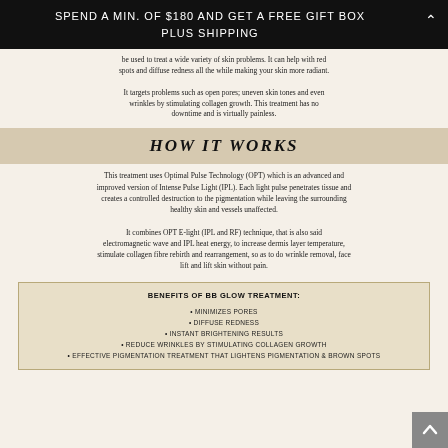SPEND A MIN. OF $180 AND GET A FREE GIFT BOX PLUS SHIPPING
be used to treat a wide variety of skin problems. It can help with red spots and diffuse redness all the while making your skin more radiant. It targets problems such as open pores; uneven skin tones and even wrinkles by stimulating collagen growth. This treatment has no downtime and is virtually painless.
HOW IT WORKS
This treatment uses Optimal Pulse Technology (OPT) which is an advanced and improved version of Intense Pulse Light (IPL). Each light pulse penetrates tissue and creates a controlled destruction to the pigmentation while leaving the surrounding healthy skin and vessels unaffected.
It combines OPT E-light (IPL and RF) technique, that is also said electromagnetic wave and IPL heat energy, to increase dermis layer temperature, stimulate collagen fibre rebirth and rearrangement, so as to do wrinkle removal, face lift and lift skin without pain.
BENEFITS OF BB GLOW TREATMENT:
MINIMIZES PORES
DIFFUSE REDNESS
INSTANT BRIGHTENING RESULTS
REDUCE WRINKLES BY STIMULATING COLLAGEN GROWTH
EFFECTIVE PIGMENTATION TREATMENT THAT LIGHTENS PIGMENTATION & BROWN SPOTS